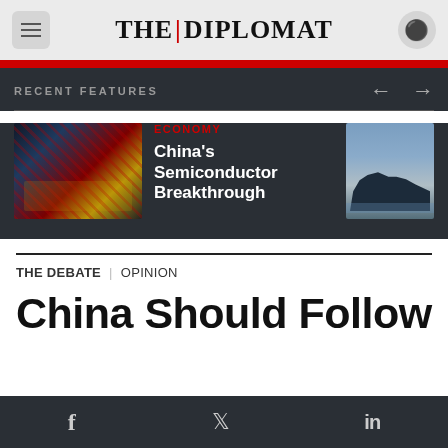THE DIPLOMAT
RECENT FEATURES
[Figure (photo): Thumbnail image of a microchip with Chinese flag overlay]
ECONOMY
China's Semiconductor Breakthrough
[Figure (photo): Thumbnail image of a naval warship at sea]
China Should Follow
THE DEBATE | OPINION
f  Twitter  in